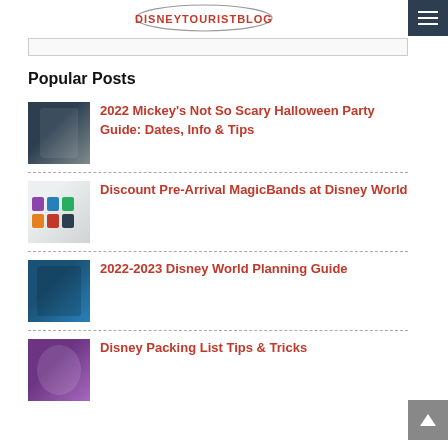DISNEYTOURISTBLOG
Popular Posts
2022 Mickey's Not So Scary Halloween Party Guide: Dates, Info & Tips
Discount Pre-Arrival MagicBands at Disney World
2022-2023 Disney World Planning Guide
Disney Packing List Tips & Tricks